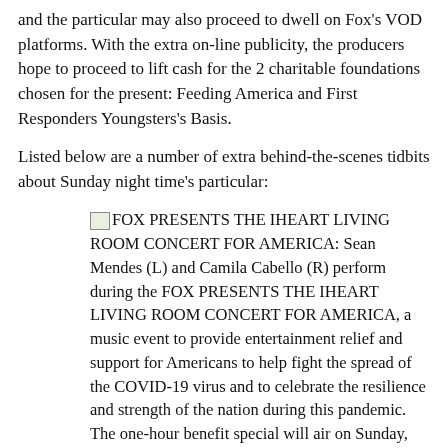and the particular may also proceed to dwell on Fox's VOD platforms. With the extra on-line publicity, the producers hope to proceed to lift cash for the 2 charitable foundations chosen for the present: Feeding America and First Responders Youngsters's Basis.
Listed below are a number of extra behind-the-scenes tidbits about Sunday night time's particular:
FOX PRESENTS THE IHEART LIVING ROOM CONCERT FOR AMERICA: Sean Mendes (L) and Camila Cabello (R) perform during the FOX PRESENTS THE IHEART LIVING ROOM CONCERT FOR AMERICA, a music event to provide entertainment relief and support for Americans to help fight the spread of the COVID-19 virus and to celebrate the resilience and strength of the nation during this pandemic. The one-hour benefit special will air on Sunday, March 29, from 9:00-10:00 PM ET/6:00-7:00 PM PT on FOX, on iHeartMedia radio stations nationwide and via the iHeartRadio app. The benefit special will be